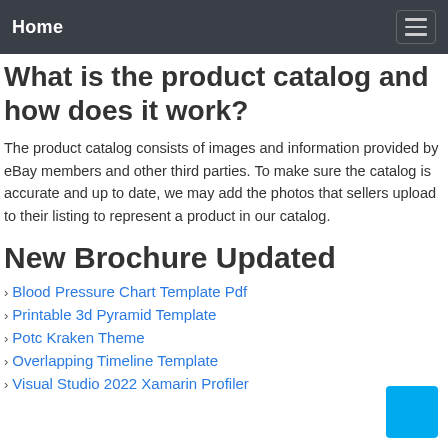Home
What is the product catalog and how does it work?
The product catalog consists of images and information provided by eBay members and other third parties. To make sure the catalog is accurate and up to date, we may add the photos that sellers upload to their listing to represent a product in our catalog.
New Brochure Updated
Blood Pressure Chart Template Pdf
Printable 3d Pyramid Template
Potc Kraken Theme
Overlapping Timeline Template
Visual Studio 2022 Xamarin Profiler